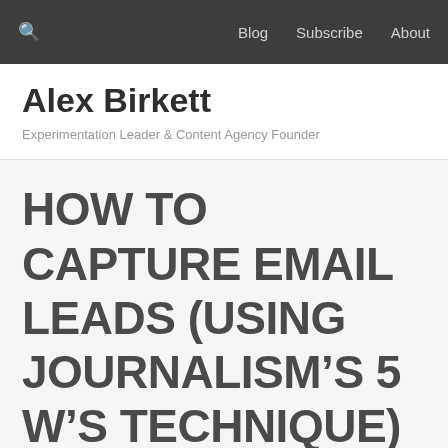🔍   Blog   Subscribe   About
Alex Birkett
Experimentation Leader & Content Agency Founder
HOW TO CAPTURE EMAIL LEADS (USING JOURNALISM'S 5 W'S TECHNIQUE)